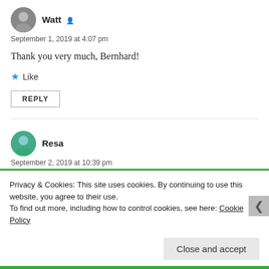Watt
September 1, 2019 at 4:07 pm
Thank you very much, Bernhard!
Like
REPLY
Resa
September 2, 2019 at 10:39 pm
Your words are spiked with “cool” …snap, snap!
Privacy & Cookies: This site uses cookies. By continuing to use this website, you agree to their use.
To find out more, including how to control cookies, see here: Cookie Policy
Close and accept